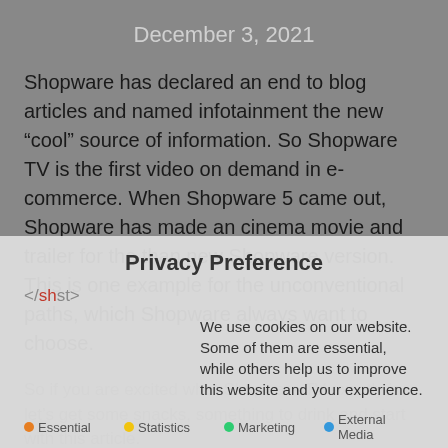December 3, 2021
Shopware has declared an end to blog articles and named infotainment the new “cool” source of information. So Shopware TV is the first video on demand in e-commerce. When Shopware 5 came out, Shopware has made an cinema movie and trailer for the than new Shopware version. This is one example for the unconventional paths, which Shopware always want to choose.
So if you are excited what Shopware TV exactly is, let’s get some snacks, something to drink and start with this article.
Privacy Preference
We use cookies on our website. Some of them are essential, while others help us to improve this website and your experience.
Essential  Statistics  Marketing  External Media